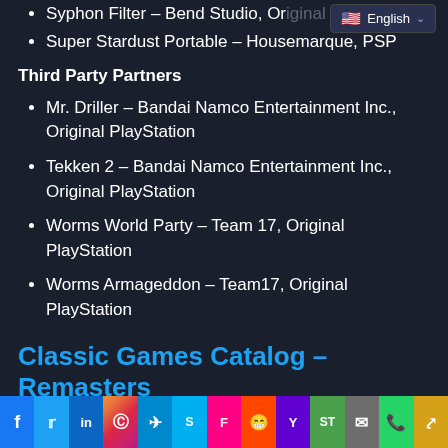Syphon Filter – Bend Studio, Original PlayStation
Super Stardust Portable – Housemarque, PSP
Third Party Partners
Mr. Driller – Bandai Namco Entertainment Inc., Original PlayStation
Tekken 2 – Bandai Namco Entertainment Inc., Original PlayStation
Worms World Party – Team 17, Original PlayStation
Worms Armageddon – Team17, Original PlayStation
Classic Games Catalog – Remasters
PlayStation Studios
Social share bar: Facebook, Twitter, LinkedIn, Instagram, Telegram, Skype, Flipboard, Reddit, Yahoo, SmartThings, Email, WhatsApp, Copy